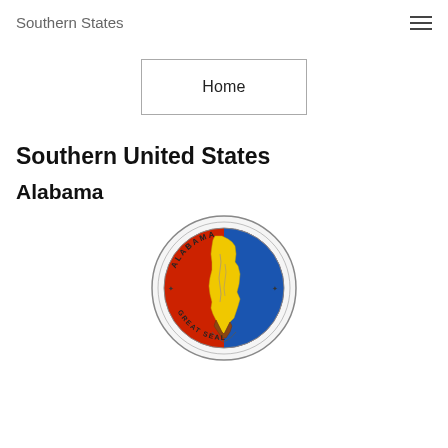Southern States
Home
Southern United States
Alabama
[Figure (illustration): The Great Seal of Alabama — a circular seal with a red and blue background showing a yellow map of the state of Alabama with river lines, bordered by a decorative ring with the text 'ALABAMA' at top and 'GREAT SEAL' at bottom, with stars on the sides.]